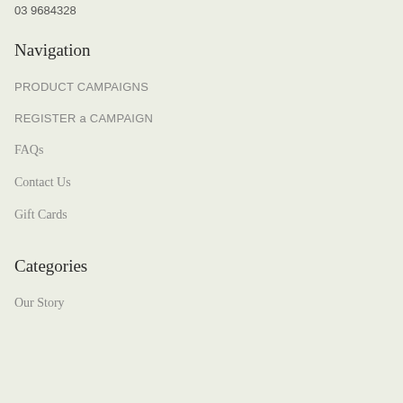03 9684328
Navigation
PRODUCT CAMPAIGNS
REGISTER a CAMPAIGN
FAQs
Contact Us
Gift Cards
Categories
Our Story